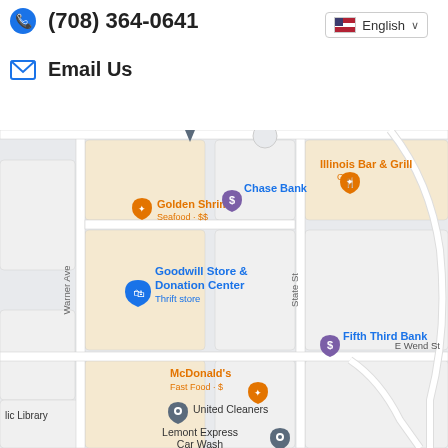(708) 364-0641
Email Us
English
[Figure (map): Google Maps screenshot showing area near Warner Ave and State St with landmarks: Golden Shrimp (Seafood $$), Chase Bank, Illinois Bar & Grill (Grill), Goodwill Store & Donation Center (Thrift store), Fifth Third Bank, McDonald's (Fast Food $), United Cleaners, Lemont Express Car Wash, lic Library. Streets visible: Warner Ave, State St, E Wend St.]